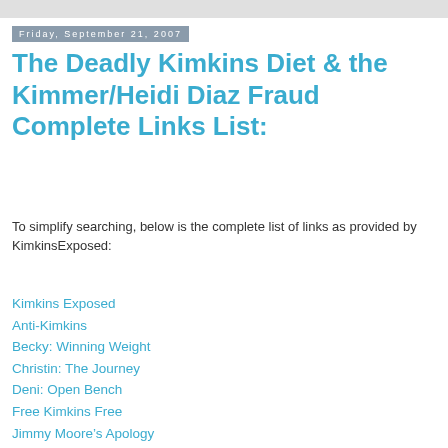Friday, September 21, 2007
The Deadly Kimkins Diet & the Kimmer/Heidi Diaz Fraud Complete Links List:
To simplify searching, below is the complete list of links as provided by KimkinsExposed:
Kimkins Exposed
Anti-Kimkins
Becky: Winning Weight
Christin: The Journey
Deni: Open Bench
Free Kimkins Free
Jimmy Moore’s Apology
http://www.slamboard.com/category/kimkins-diet/
Kimkins Controversy
Kimkins Dangers
Kimkins Sucks!
Kimkins Survivors